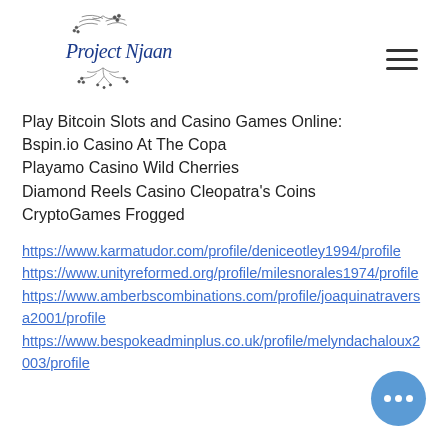Project Njaan (logo with decorative leaves)
Play Bitcoin Slots and Casino Games Online:
Bspin.io Casino At The Copa
Playamo Casino Wild Cherries
Diamond Reels Casino Cleopatra's Coins
CryptoGames Frogged
https://www.karmatudor.com/profile/deniceotley1994/profile
https://www.unityreformed.org/profile/milesnorales1974/profile
https://www.amberbscombinations.com/profile/joaquinatraversa2001/profile
https://www.bespokeadminplus.co.uk/profile/melyndachaloux2003/profile